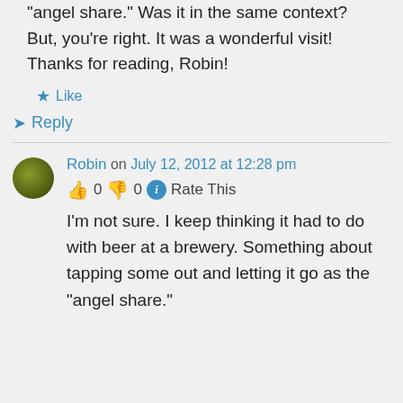“angel share.” Was it in the same context? But, you’re right. It was a wonderful visit! Thanks for reading, Robin!
★ Like
➤ Reply
Robin on July 12, 2012 at 12:28 pm
👍 0 👎 0 ℹ Rate This
I’m not sure. I keep thinking it had to do with beer at a brewery. Something about tapping some out and letting it go as the “angel share.”